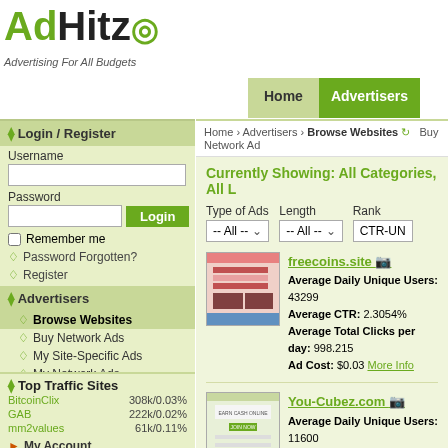[Figure (logo): AdHitz logo with green 'Ad' and black 'Hitz' text with target/cursor icon, tagline: Advertising For All Budgets]
Home | Advertisers
Login / Register
Username
Password
Remember me
Password Forgotten?
Register
Advertisers
Browse Websites
Buy Network Ads
My Site-Specific Ads
My Network Ads
My Ads Stats
How it Works
Publishers
My Account
Helpdesk
Top Traffic Sites
BitcoinClix 308k/0.03%
GAB 222k/0.02%
mm2values 61k/0.11%
Home › Advertisers › Browse Websites
Currently Showing: All Categories, All L
Type of Ads: -- All --   Length: -- All --   Rank: CTR-UN
[Figure (screenshot): Thumbnail of freecoins.site website]
freecoins.site
Average Daily Unique Users: 43299
Average CTR: 2.3054%
Average Total Clicks per day: 998.215
Ad Cost: $0.03 More Info
[Figure (screenshot): Thumbnail of You-Cubez.com website]
You-Cubez.com
Average Daily Unique Users: 11600
Average CTR: 3.5548%
Average Total Clicks per day: 412.3568
Ad Cost: $15. More Info
[Figure (screenshot): Thumbnail of aruble.net website (dark background)]
aruble.net
Average Daily Unique Users: 27159
Average CTR: 1.4278%